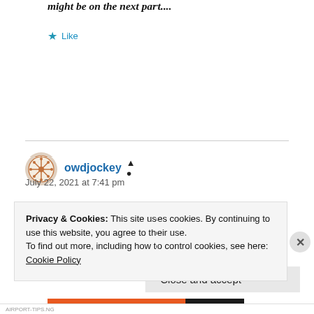might be on the next part....
★ Like
owdjockey 👤
July 22, 2021 at 7:41 pm
Privacy & Cookies: This site uses cookies. By continuing to use this website, you agree to their use.
To find out more, including how to control cookies, see here:
Cookie Policy
Close and accept